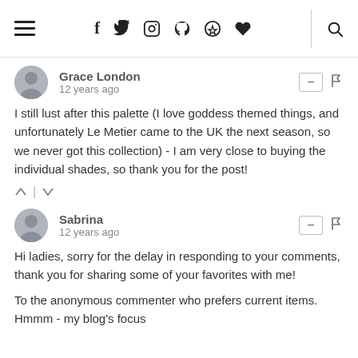Navigation header with hamburger menu, social icons (f, twitter, instagram, pinterest, heart), and search icon
Grace London
12 years ago
I still lust after this palette (I love goddess themed things, and unfortunately Le Metier came to the UK the next season, so we never got this collection) - I am very close to buying the individual shades, so thank you for the post!
Sabrina
12 years ago
Hi ladies, sorry for the delay in responding to your comments, thank you for sharing some of your favorites with me!
To the anonymous commenter who prefers current items. Hmmm - my blog&#39;s focus